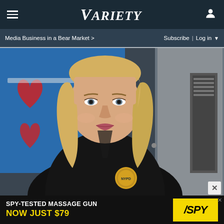VARIETY (logo) — hamburger menu, user icon
Media Business in a Bear Market > | Subscribe | Log in
[Figure (photo): Blonde woman in a black NYPD jacket with a detective badge, looking serious, standing in front of a blue poster with a red heart. Indoor setting.]
[Figure (photo): SPY-TESTED MASSAGE GUN NOW JUST $79 advertisement with SPY logo on yellow background]